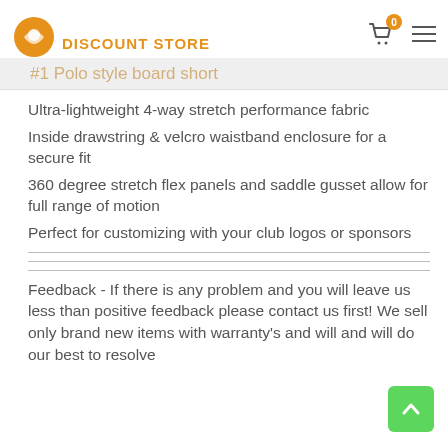DISCOUNT STORE
#1 Polo style board short
Ultra-lightweight 4-way stretch performance fabric
Inside drawstring & velcro waistband enclosure for a secure fit
360 degree stretch flex panels and saddle gusset allow for full range of motion
Perfect for customizing with your club logos or sponsors
Feedback - If there is any problem and you will leave us less than positive feedback please contact us first! We sell only brand new items with warranty's and will and will do our best to resolve